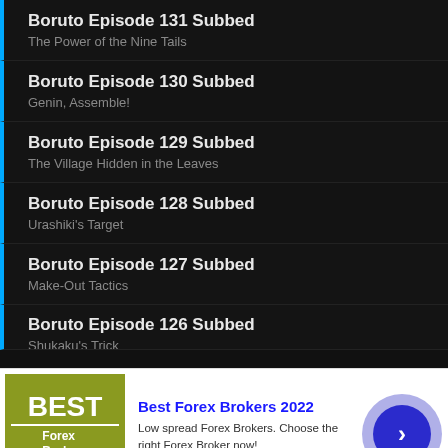Boruto Episode 131 Subbed
The Power of the Nine Tails
Boruto Episode 130 Subbed
Genin, Assemble!
Boruto Episode 129 Subbed
The Village Hidden in the Leaves
Boruto Episode 128 Subbed
Urashiki's Target
Boruto Episode 127 Subbed
Make-Out Tactics
Boruto Episode 126 Subbed
Shukaku's Trick
[Figure (screenshot): Advertisement banner for Best Forex Brokers 2022. Contains logo with olive/yellow-green background, text 'Best Forex Brokers 2022', description about low spread Forex Brokers, URL www.forex-ratings.com, and a blue circle button with right arrow.]